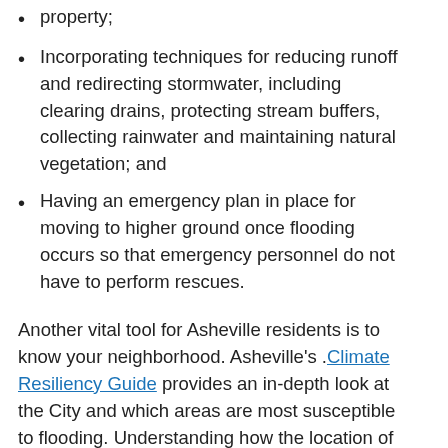property;
Incorporating techniques for reducing runoff and redirecting stormwater, including clearing drains, protecting stream buffers, collecting rainwater and maintaining natural vegetation; and
Having an emergency plan in place for moving to higher ground once flooding occurs so that emergency personnel do not have to perform rescues.
Another vital tool for Asheville residents is to know your neighborhood. Asheville's .Climate Resiliency Guide provides an in-depth look at the City and which areas are most susceptible to flooding. Understanding how the location of your home or business affects your flooding risk will allow you to prepare for potential disasters and become more resilient when extreme weather strikes.